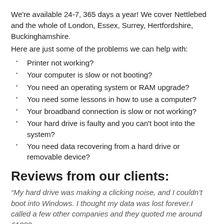We're available 24-7, 365 days a year! We cover Nettlebed and the whole of London, Essex, Surrey, Hertfordshire, Buckinghamshire.
Here are just some of the problems we can help with:
Printer not working?
Your computer is slow or not booting?
You need an operating system or RAM upgrade?
You need some lessons in how to use a computer?
Your broadband connection is slow or not working?
Your hard drive is faulty and you can't boot into the system?
You need data recovering from a hard drive or removable device?
Reviews from our clients:
“My hard drive was making a clicking noise, and I couldn’t boot into Windows. I thought my data was lost forever.I called a few other companies and they quoted me around £1000…